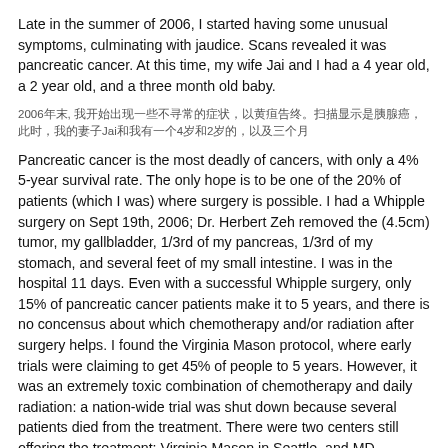Late in the summer of 2006, I started having some unusual symptoms, culminating with jaudice. Scans revealed it was pancreatic cancer. At this time, my wife Jai and I had a 4 year old, a 2 year old, and a three month old baby.
2006年夏末, 我开始出现一些不寻常的症状, 以黄疸告终。扫描显示是胰腺癌。此时，我的妻子Jai和我有一个4岁和2岁的, 以及三个月
Pancreatic cancer is the most deadly of cancers, with only a 4% 5-year survival rate. The only hope is to be one of the 20% of patients (which I was) where surgery is possible. I had a Whipple surgery on Sept 19th, 2006; Dr. Herbert Zeh removed the (4.5cm) tumor, my gallbladder, 1/3rd of my pancreas, 1/3rd of my stomach, and several feet of my small intestine. I was in the hospital 11 days. Even with a successful Whipple surgery, only 15% of pancreatic cancer patients make it to 5 years, and there is no concensus about which chemotherapy and/or radiation after surgery helps. I found the Virginia Mason protocol, where early trials were claiming to get 45% of people to 5 years. However, it was an extremely toxic combination of chemotherapy and daily radiation: a nation-wide trial was shut down because several patients died from the treatment. There were two centers still offering the treatment: Virginia Mason in Seattle, and MD Anderson in Houston, and I was able to quality for the treatment in Houston. This happened in a whirlwind: the treatment needed to start within 3.5 weeks of the surgery, and it was 3 weeks after